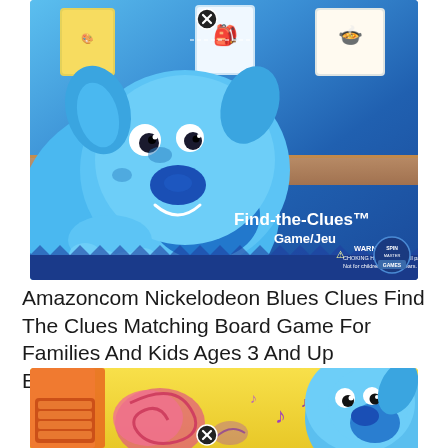[Figure (photo): Product image of Blue's Clues Find-the-Clues Game/Jeu board game box featuring Blue the animated dog character on a dark blue background, with warning label for choking hazard and Spin Master Games logo. A close/dismiss button (X) is overlaid on the image.]
Amazoncom Nickelodeon Blues Clues Find The Clues Matching Board Game For Families And Kids Ages 3 And Up Everything Else
[Figure (photo): Partial product image showing an animated scene with Blue the dog character on a yellow background with colorful elements including musical notes, a pink piano/keyboard, and an orange element. A close/dismiss button (X) is overlaid on the image.]